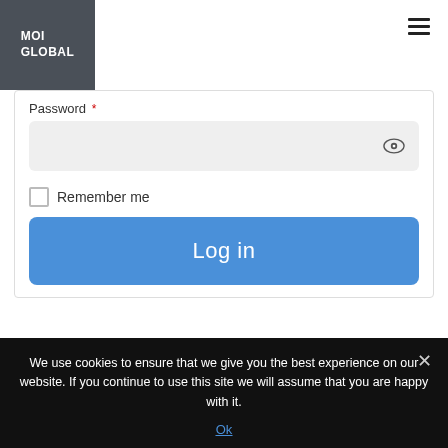[Figure (logo): MOI GLOBAL logo — white text on dark gray square background]
Password *
[Figure (screenshot): Password input field with eye icon on right, light gray background, rounded corners]
Remember me
Log in
We use cookies to ensure that we give you the best experience on our website. If you continue to use this site we will assume that you are happy with it.
Ok